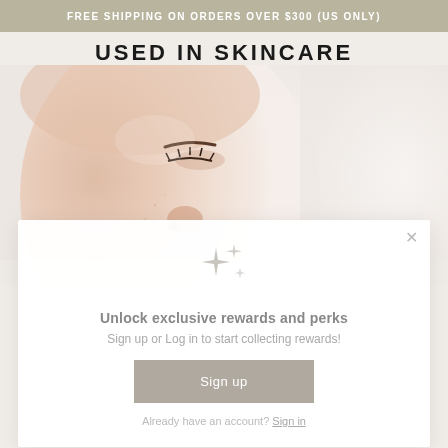FREE SHIPPING ON ORDERS OVER $300 (US ONLY)
USED IN SKINCARE
[Figure (photo): Close-up side profile of a woman's face with clear skin against a light background]
Unlock exclusive rewards and perks
Sign up or Log in to start collecting rewards!
Sign up
Already have an account? Sign in